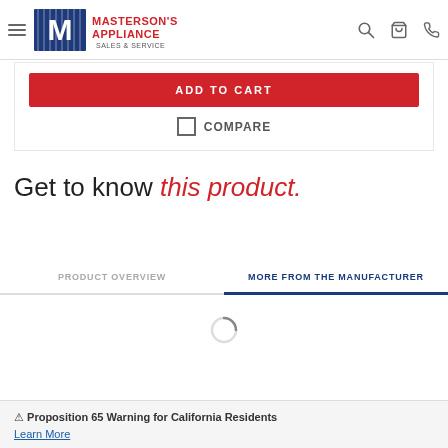Masterson's Appliance Sales & Service — navigation header
ADD TO CART
COMPARE
Get to know this product.
PRODUCT OVERVIEW
MORE FROM THE MANUFACTURER
[Figure (other): Loading spinner icon (circular progress indicator)]
⚠ Proposition 65 Warning for California Residents
Learn More